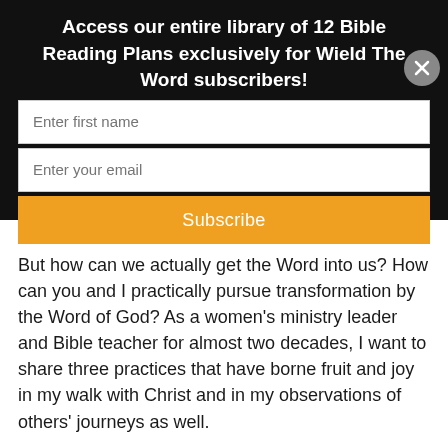Access our entire library of 12 Bible Reading Plans exclusively for Wield The Word subscribers!
[Figure (screenshot): Modal popup with name input field labeled 'Enter first name', email input field labeled 'Enter your email', orange Subscribe button, and a circular close button on the right side.]
comes powerfully and sweetly by His Word.
But how can we actually get the Word into us? How can you and I practically pursue transformation by the Word of God? As a women's ministry leader and Bible teacher for almost two decades, I want to share three practices that have borne fruit and joy in my walk with Christ and in my observations of others' journeys as well.
Personal Consistency